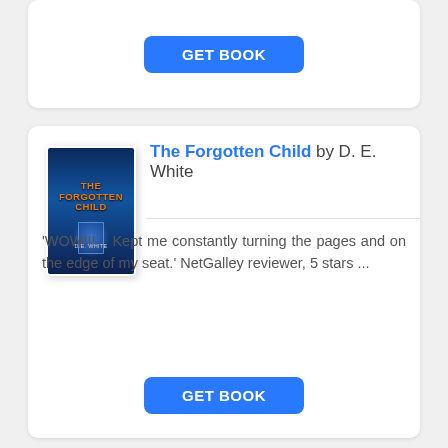[Figure (other): GET BOOK button card at the top of the page]
[Figure (illustration): Book cover for The Forgotten Child by D. E. White — dark blue cover with orange title text and a glowing door motif]
The Forgotten Child by D. E. White
'WOW!!!... Kept me constantly turning the pages and on the edge of my seat.' NetGalley reviewer, 5 stars ...